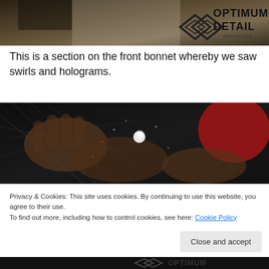[Figure (photo): Top portion of a video showing a person in a white t-shirt, with Optimum Detail logo overlay in the top right corner.]
This is a section on the front bonnet whereby we saw swirls and holograms.
[Figure (photo): Close-up photo of hands on a dark car surface showing swirls and holograms with bright light reflection.]
Privacy & Cookies: This site uses cookies. By continuing to use this website, you agree to their use.
To find out more, including how to control cookies, see here: Cookie Policy
Close and accept
[Figure (photo): Bottom strip showing Optimum logo on dark background.]